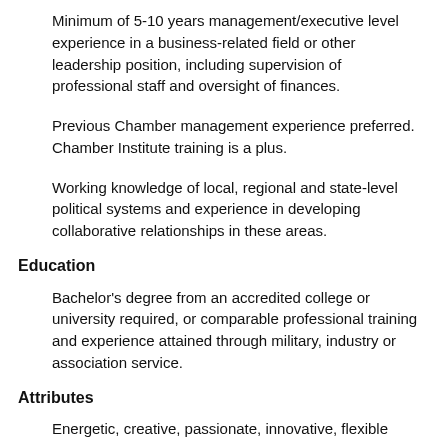Minimum of 5-10 years management/executive level experience in a business-related field or other leadership position, including supervision of professional staff and oversight of finances.
Previous Chamber management experience preferred.  Chamber Institute training is a plus.
Working knowledge of local, regional and state-level political systems and experience in developing collaborative relationships in these areas.
Education
Bachelor's degree from an accredited college or university required, or comparable professional training and experience attained through military, industry or association service.
Attributes
Energetic, creative, passionate, innovative, flexible